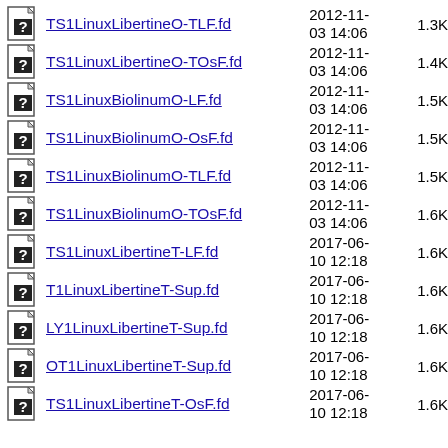TS1LinuxLibertineO-TLF.fd 2012-11-03 14:06 1.3K
TS1LinuxLibertineO-TOsF.fd 2012-11-03 14:06 1.4K
TS1LinuxBiolinumO-LF.fd 2012-11-03 14:06 1.5K
TS1LinuxBiolinumO-OsF.fd 2012-11-03 14:06 1.5K
TS1LinuxBiolinumO-TLF.fd 2012-11-03 14:06 1.5K
TS1LinuxBiolinumO-TOsF.fd 2012-11-03 14:06 1.6K
TS1LinuxLibertineT-LF.fd 2017-06-10 12:18 1.6K
T1LinuxLibertineT-Sup.fd 2017-06-10 12:18 1.6K
LY1LinuxLibertineT-Sup.fd 2017-06-10 12:18 1.6K
OT1LinuxLibertineT-Sup.fd 2017-06-10 12:18 1.6K
TS1LinuxLibertineT-OsF.fd 2017-06-10 12:18 1.6K